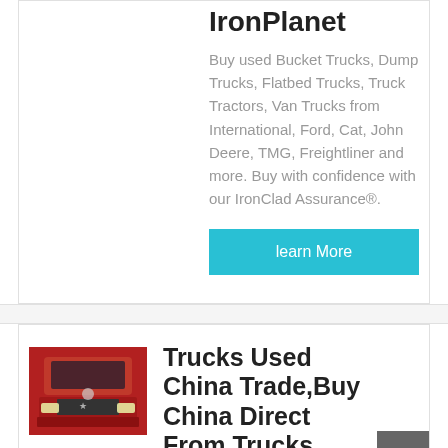IronPlanet
Buy used Bucket Trucks, Dump Trucks, Flatbed Trucks, Truck Tractors, Van Trucks from International, Ford, Cat, John Deere, TMG, Freightliner and more. Buy with confidence with our IronClad Assurance®.
learn More
[Figure (photo): Red truck (front view) - Trucks Used China Trade product image]
Trucks Used China Trade,Buy China Direct From Trucks ...